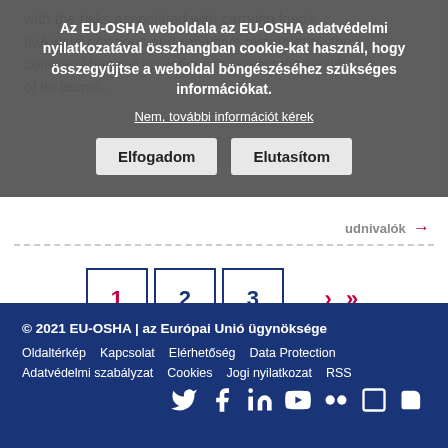with the risks associated with carrying loads, awkward positions and repetitive movements, the company has set up actions to protect the health of its teams...
Az EU-OSHA weboldala az EU-OSHA adatvédelmi nyilatkozatával összhangban cookie-kat használ, hogy összegyűjtse a weboldal böngészéséhez szükséges információkat.
Nem, további információt kérek
Elfogadom   Elutasítom
Tudnivalók →
1  2  3  ...  ›  »
© 2021 EU-OSHA | az Európai Unió ügynöksége
Oldaltérkép   Kapcsolat   Elérhetőség   Data Protection
Adatvédelmi szabályzat   Cookies   Jogi nyilatkozat   RSS